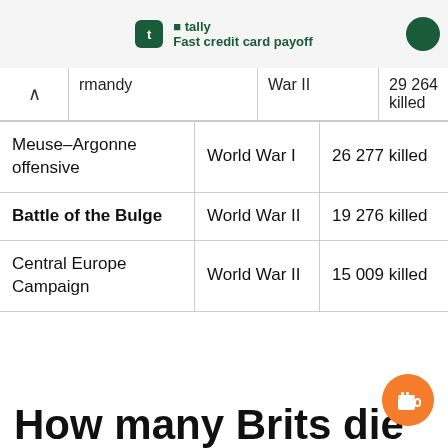tally Fast credit card payoff
| Battle | War | Casualties |
| --- | --- | --- |
| …rmandy | War II | 29 264 killed |
| Meuse–Argonne offensive | World War I | 26 277 killed |
| Battle of the Bulge | World War II | 19 276 killed |
| Central Europe Campaign | World War II | 15 009 killed |
How many Brits die…